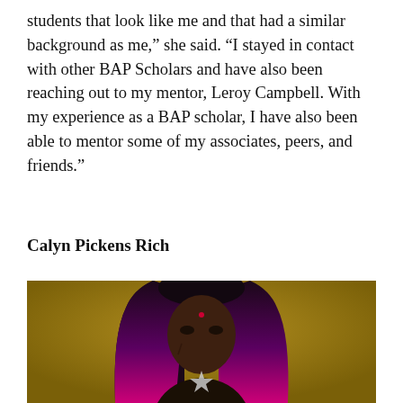students that look like me and that had a similar background as me,” she said. “I stayed in contact with other BAP Scholars and have also been reaching out to my mentor, Leroy Campbell. With my experience as a BAP scholar, I have also been able to mentor some of my associates, peers, and friends.”
Calyn Pickens Rich
[Figure (photo): Portrait photo of Calyn Pickens Rich, a person with long dark-to-magenta ombre hair with purple highlights, facial decoration/jewelry, wearing a star-shaped necklace, posed against a golden-brown/ochre background.]